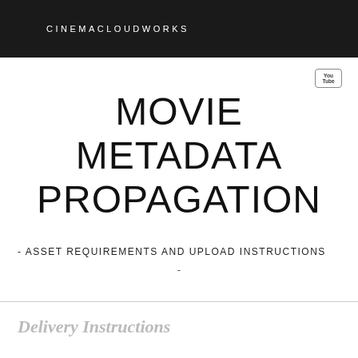CINEMACLOUDWORKS
[Figure (logo): YouTube icon button — small rounded rectangle with 'You' and 'Tube' text]
MOVIE METADATA PROPAGATION
- ASSET REQUIREMENTS AND UPLOAD INSTRUCTIONS
-
Delivery Instructions